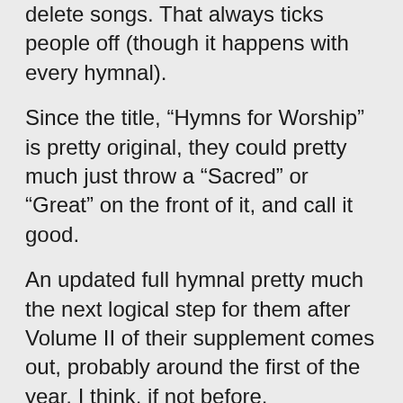delete songs. That always ticks people off (though it happens with every hymnal).
Since the title, “Hymns for Worship” is pretty original, they could pretty much just throw a “Sacred” or “Great” on the front of it, and call it good.
An updated full hymnal pretty much the next logical step for them after Volume II of their supplement comes out, probably around the first of the year, I think, if not before.
I recently picked up WD Jeffcoat’s Sacred Songs of the Church. I don’t